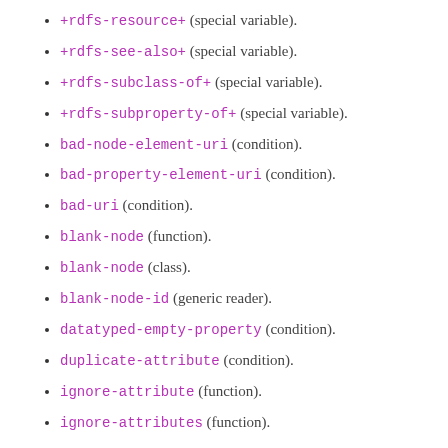+rdfs-resource+ (special variable).
+rdfs-see-also+ (special variable).
+rdfs-subclass-of+ (special variable).
+rdfs-subproperty-of+ (special variable).
bad-node-element-uri (condition).
bad-property-element-uri (condition).
bad-uri (condition).
blank-node (function).
blank-node (class).
blank-node-id (generic reader).
datatyped-empty-property (condition).
duplicate-attribute (condition).
ignore-attribute (function).
ignore-attributes (function).